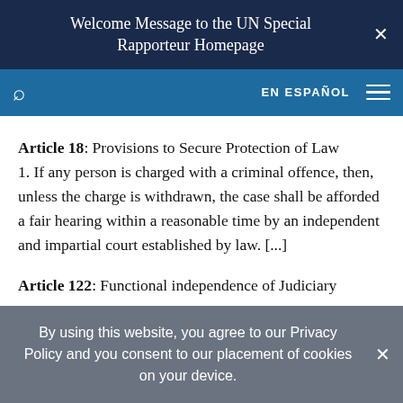Welcome Message to the UN Special Rapporteur Homepage
Article 18: Provisions to Secure Protection of Law
1. If any person is charged with a criminal offence, then, unless the charge is withdrawn, the case shall be afforded a fair hearing within a reasonable time by an independent and impartial court established by law. [...]
Article 122: Functional independence of Judiciary
By using this website, you agree to our Privacy Policy and you consent to our placement of cookies on your device.